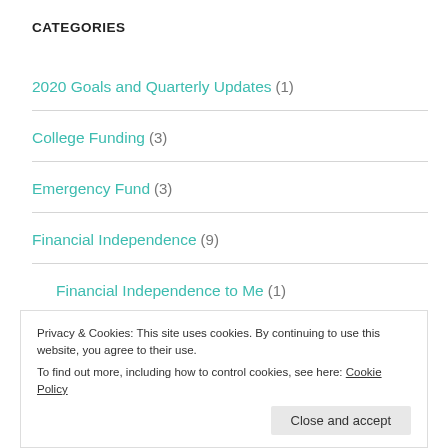CATEGORIES
2020 Goals and Quarterly Updates (1)
College Funding (3)
Emergency Fund (3)
Financial Independence (9)
Financial Independence to Me (1)
Privacy & Cookies: This site uses cookies. By continuing to use this website, you agree to their use.
To find out more, including how to control cookies, see here: Cookie Policy
Close and accept